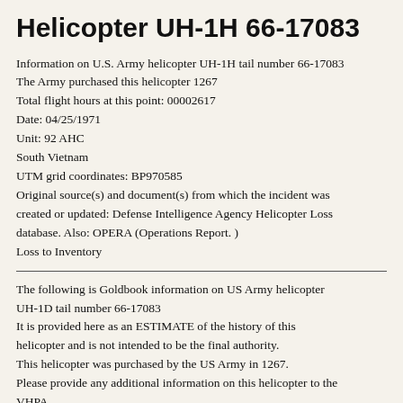Helicopter UH-1H 66-17083
Information on U.S. Army helicopter UH-1H tail number 66-17083
The Army purchased this helicopter 1267
Total flight hours at this point: 00002617
Date: 04/25/1971
Unit: 92 AHC
South Vietnam
UTM grid coordinates: BP970585
Original source(s) and document(s) from which the incident was created or updated: Defense Intelligence Agency Helicopter Loss database. Also: OPERA (Operations Report. )
Loss to Inventory
The following is Goldbook information on US Army helicopter UH-1D tail number 66-17083
It is provided here as an ESTIMATE of the history of this helicopter and is not intended to be the final authority.
This helicopter was purchased by the US Army in 1267.
Please provide any additional information on this helicopter to the VHPA.